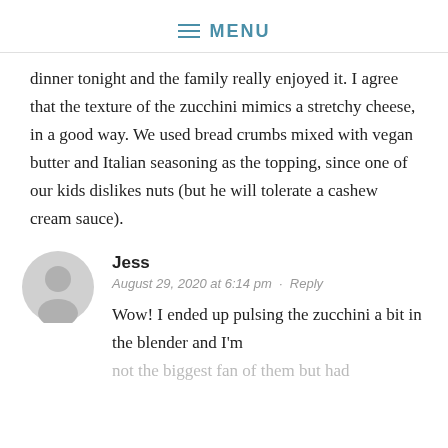≡ MENU
dinner tonight and the family really enjoyed it. I agree that the texture of the zucchini mimics a stretchy cheese, in a good way. We used bread crumbs mixed with vegan butter and Italian seasoning as the topping, since one of our kids dislikes nuts (but he will tolerate a cashew cream sauce).
Jess
August 29, 2020 at 6:14 pm · Reply
Wow! I ended up pulsing the zucchini a bit in the blender and I'm not the biggest fan of them but had